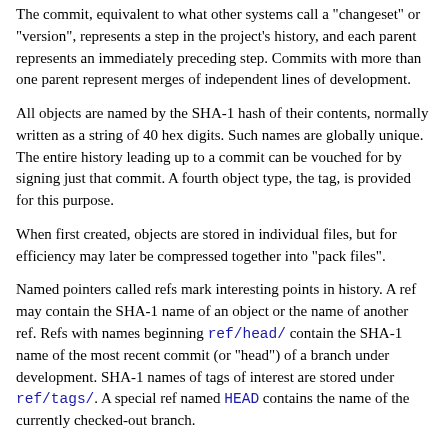The commit, equivalent to what other systems call a "changeset" or "version", represents a step in the project's history, and each parent represents an immediately preceding step. Commits with more than one parent represent merges of independent lines of development.
All objects are named by the SHA-1 hash of their contents, normally written as a string of 40 hex digits. Such names are globally unique. The entire history leading up to a commit can be vouched for by signing just that commit. A fourth object type, the tag, is provided for this purpose.
When first created, objects are stored in individual files, but for efficiency may later be compressed together into "pack files".
Named pointers called refs mark interesting points in history. A ref may contain the SHA-1 name of an object or the name of another ref. Refs with names beginning ref/head/ contain the SHA-1 name of the most recent commit (or "head") of a branch under development. SHA-1 names of tags of interest are stored under ref/tags/. A special ref named HEAD contains the name of the currently checked-out branch.